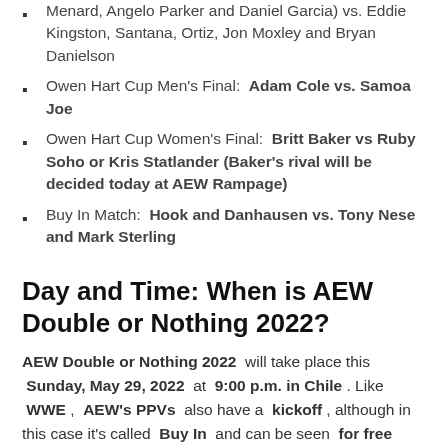Menard, Angelo Parker and Daniel Garcia) vs. Eddie Kingston, Santana, Ortiz, Jon Moxley and Bryan Danielson
Owen Hart Cup Men's Final: Adam Cole vs. Samoa Joe
Owen Hart Cup Women's Final: Britt Baker vs Ruby Soho or Kris Statlander (Baker's rival will be decided today at AEW Rampage)
Buy In Match: Hook and Danhausen vs. Tony Nese and Mark Sterling
Day and Time: When is AEW Double or Nothing 2022?
AEW Double or Nothing 2022 will take place this Sunday, May 29, 2022 at 9:00 p.m. in Chile . Like WWE , AEW's PPVs also have a kickoff , although in this case it's called Buy In and can be seen for free through the AEW YouTube channel .